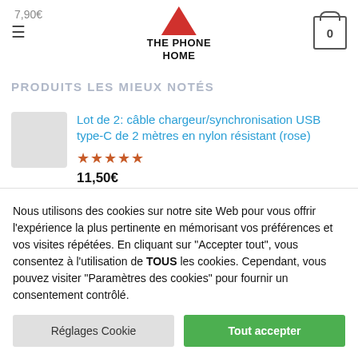7,90€ | THE PHONE HOME | 0
PRODUITS LES MIEUX NOTÉS
Lot de 2: câble chargeur/synchronisation USB type-C de 2 mètres en nylon résistant (rose)
★★★★★ 11,50€
Mini support de téléphone magnétique universel
★★★★★
Nous utilisons des cookies sur notre site Web pour vous offrir l'expérience la plus pertinente en mémorisant vos préférences et vos visites répétées. En cliquant sur "Accepter tout", vous consentez à l'utilisation de TOUS les cookies. Cependant, vous pouvez visiter "Paramètres des cookies" pour fournir un consentement contrôlé.
Réglages Cookie | Tout accepter